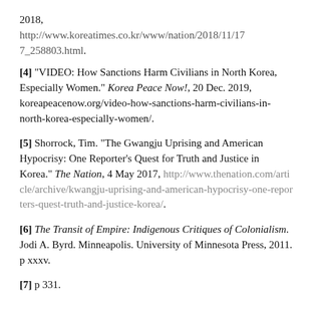2018, http://www.koreatimes.co.kr/www/nation/2018/11/17 7_258803.html.
[4] “VIDEO: How Sanctions Harm Civilians in North Korea, Especially Women.” Korea Peace Now!, 20 Dec. 2019, koreapeacenow.org/video-how-sanctions-harm-civilians-in-north-korea-especially-women/.
[5] Shorrock, Tim. “The Gwangju Uprising and American Hypocrisy: One Reporter’s Quest for Truth and Justice in Korea.” The Nation, 4 May 2017, http://www.thenation.com/article/archive/kwangju-uprising-and-american-hypocrisy-one-reporters-quest-truth-and-justice-korea/.
[6] The Transit of Empire: Indigenous Critiques of Colonialism. Jodi A. Byrd. Minneapolis. University of Minnesota Press, 2011. p xxxv.
[7] p 331.